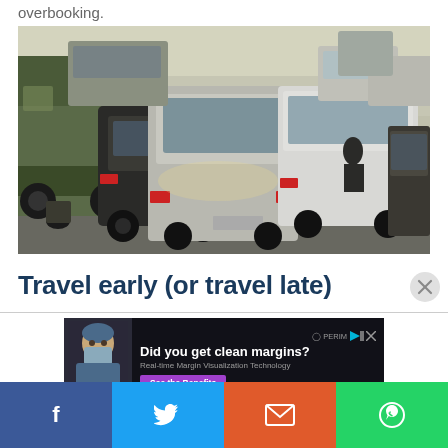overbooking.
[Figure (photo): Heavy traffic jam with many cars gridlocked on a road, viewed from ground level among the vehicles]
Travel early (or travel late)
[Figure (other): Advertisement banner: 'Did you get clean margins? Real-time Margin Visualization Technology. See the Benefits.' from PERIMETER medical company, with image of surgeon in mask]
[Figure (other): Social media sharing bar with Facebook, Twitter, Email, and WhatsApp buttons]